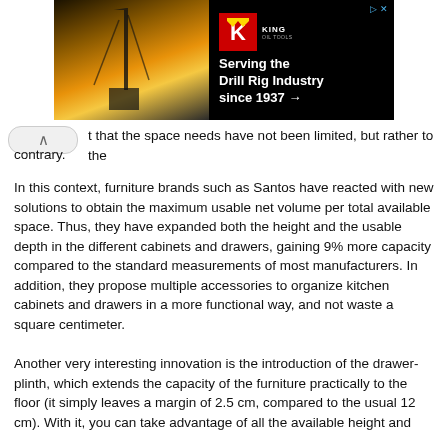[Figure (screenshot): Advertisement banner for King Oil Tools: 'Serving the Drill Rig Industry since 1937 →' with logo on black background and oil rig image]
t that the space needs have not been limited, but rather to the contrary.
In this context, furniture brands such as Santos have reacted with new solutions to obtain the maximum usable net volume per total available space. Thus, they have expanded both the height and the usable depth in the different cabinets and drawers, gaining 9% more capacity compared to the standard measurements of most manufacturers. In addition, they propose multiple accessories to organize kitchen cabinets and drawers in a more functional way, and not waste a square centimeter.
Another very interesting innovation is the introduction of the drawer-plinth, which extends the capacity of the furniture practically to the floor (it simply leaves a margin of 2.5 cm, compared to the usual 12 cm). With it, you can take advantage of all the available height and